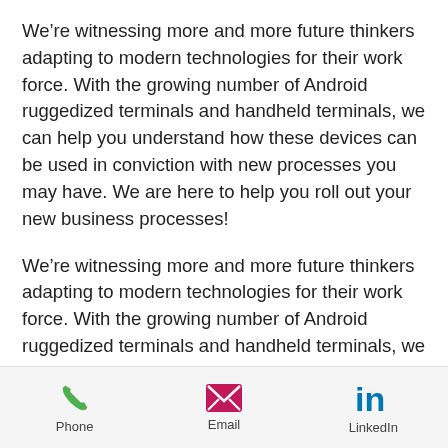We're witnessing more and more future thinkers adapting to modern technologies for their work force. With the growing number of Android ruggedized terminals and handheld terminals, we can help you understand how these devices can be used in conviction with new processes you may have. We are here to help you roll out your new business processes!
We're witnessing more and more future thinkers adapting to modern technologies for their work force. With the growing number of Android ruggedized terminals and handheld terminals, we can help you
Phone  Email  LinkedIn